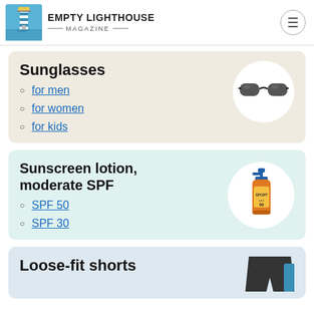EMPTY LIGHTHOUSE MAGAZINE
Sunglasses
[Figure (photo): Black sunglasses product image in a white circle on beige background]
for men
for women
for kids
Sunscreen lotion, moderate SPF
[Figure (photo): Orange sunscreen lotion bottle with blue pump on a white circle, light green background]
SPF 50
SPF 30
Loose-fit shorts